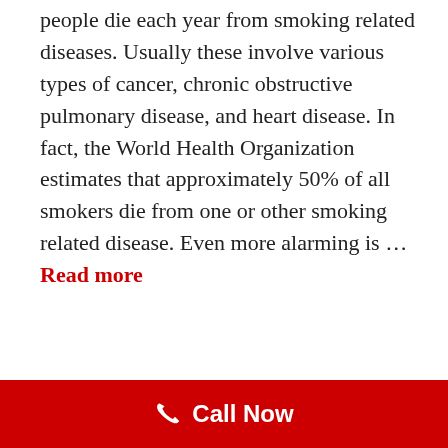people die each year from smoking related diseases. Usually these involve various types of cancer, chronic obstructive pulmonary disease, and heart disease. In fact, the World Health Organization estimates that approximately 50% of all smokers die from one or other smoking related disease. Even more alarming is … Read more
Categories: Diseases Caused By Cigarettes, Diseases Caused By Smoking, Health Impact Of Smoking, Reasons To Quit Smoking, Side Effects Of Smoking
Tags: cancer, cigarette smoke, COPD, disease caused by smoking, health benefits of quitting, health impact of smoking, health issues, heart disease, hypnosis to quit smoking, nicotine, premature ageing, sexual
Call Now